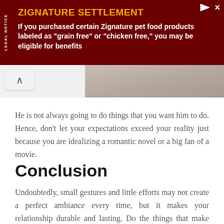[Figure (other): Advertisement banner for Zignature Settlement legal notice with dark red background, orange title text 'ZIGNATURE SETTLEMENT' and white body text about pet food products]
[Figure (photo): Partial photo showing two people in an intimate/romantic setting, cropped at top of visible area]
He is not always going to do things that you want him to do. Hence, don't let your expectations exceed your reality just because you are idealizing a romantic novel or a big fan of a movie.
Conclusion
Undoubtedly, small gestures and little efforts may not create a perfect ambiance every time, but it makes your relationship durable and lasting. Do the things that make your husband happy so it will be easier for you to handle him. Enjoy the